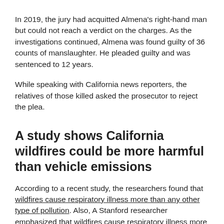In 2019, the jury had acquitted Almena's right-hand man but could not reach a verdict on the charges. As the investigations continued, Almena was found guilty of 36 counts of manslaughter. He pleaded guilty and was sentenced to 12 years.
While speaking with California news reporters, the relatives of those killed asked the prosecutor to reject the plea.
A study shows California wildfires could be more harmful than vehicle emissions
According to a recent study, the researchers found that wildfires cause respiratory illness more than any other type of pollution. Also, A Stanford researcher emphasized that wildfires...